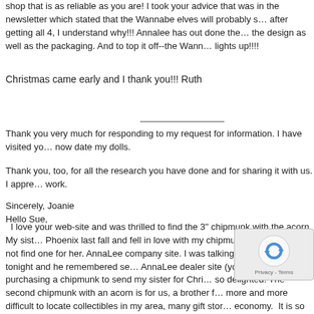shop that is as reliable as you are! I took your advice that was in the newsletter which stated that the Wannabe elves will probably sell out, and after getting all 4, I understand why!!! Annalee has out done themselves in the design as well as the packaging. And to top it off--the Wannabe elf lights up!!!!
Christmas came early and I thank you!!! Ruth
Thank you very much for responding to my request for information. I have visited your site and can now date my dolls.
Thank you, too, for all the research you have done and for sharing it with us. I appreciate all your work.
Sincerely, Joanie
Hello Sue,
  I love your web-site and was thrilled to find the 3" chipmunk with the acorn. My sister visited Phoenix last fall and fell in love with my chipmunk, but we could not find one for her. I visited the AnnaLee company site. I was talking to my husband tonight and he remembered seeing it on this AnnaLee dealer site (yours). I am purchasing a chipmunk to send my sister for Christmas. She will be so delighted! The second chipmunk with an acorn is for us, a brother for our chipmunk. It is becoming more and more difficult to locate collectibles in my area, many gift stores have closed due to the economy.  It is so sad to see so many family businesses forced to close. You are doing a great community service.  I wish you continued success with your on-line business and look forward to purchasing more AnnaLees from you in the future. Monica in MI